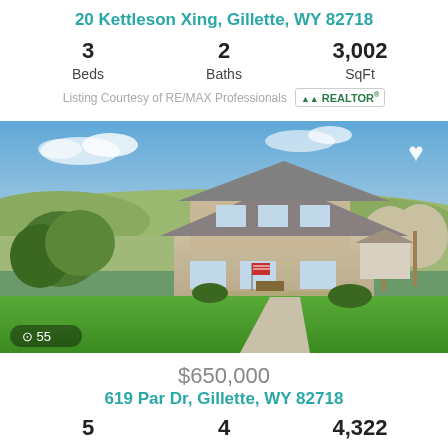20 Kettleson Xing, Gillette, WY 82718
3 Beds  2 Baths  3,002 SqFt
Listing Courtesy of RE/MAX Professionals  REALTOR
[Figure (photo): Aerial/drone photo of a two-story tan residential home with gray roof in Gillette, WY, surrounded by green lawn, trees, and open landscape with hills in background. Blue sky with light clouds. Heart icon top right. Camera icon with 55 photos count bottom left.]
$650,000
619 Par Dr, Gillette, WY 82718
5  4  4,322